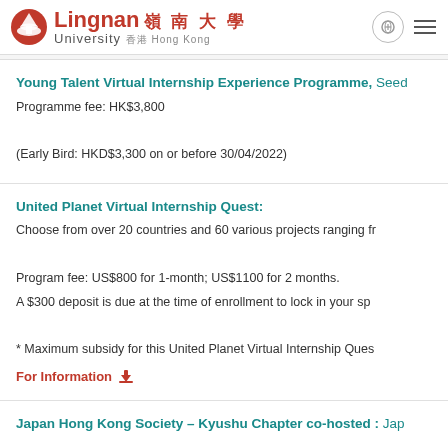Lingnan University 嶺南大學 University 香港 Hong Kong
Young Talent Virtual Internship Experience Programme, Seed
Programme fee: HK$3,800

(Early Bird: HKD$3,300 on or before 30/04/2022)
United Planet Virtual Internship Quest:
Choose from over 20 countries and 60 various projects ranging fr

Program fee: US$800 for 1-month; US$1100 for 2 months.
A $300 deposit is due at the time of enrollment to lock in your sp

* Maximum subsidy for this United Planet Virtual Internship Ques
For Information ⬇
Japan Hong Kong Society – Kyushu Chapter co-hosted : Jap